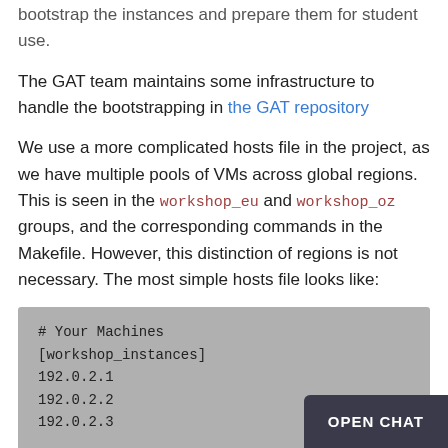Once your VMs are running, great. Now you'll need to bootstrap the instances and prepare them for student use.
The GAT team maintains some infrastructure to handle the bootstrapping in the GAT repository
We use a more complicated hosts file in the project, as we have multiple pools of VMs across global regions. This is seen in the workshop_eu and workshop_oz groups, and the corresponding commands in the Makefile. However, this distinction of regions is not necessary. The most simple hosts file looks like:
# Your Machines
[workshop_instances]
192.0.2.1
192.0.2.2
192.0.2.3
...
# Some variables for those mac
[workshop_instances:vars]